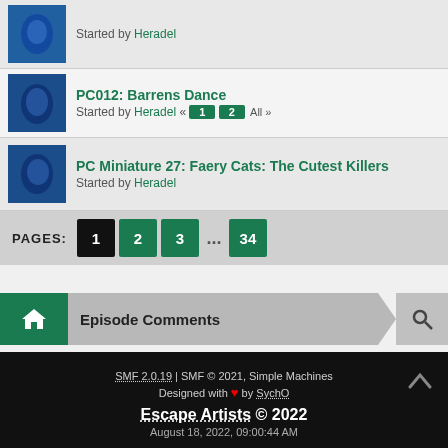Started by Heradel
PC012: Barrens Dance — Started by Heradel « 1 2 All »
PC Miniature 27: Faery Cats: The Cutest Killers — Started by Heradel
PAGES: 1 2 3 ... 34
Episode Comments
SMF 2.0.19 | SMF © 2021, Simple Machines
Designed with ❤ by SychO
Escape Artists © 2022
August 18, 2022, 09:00:44 AM